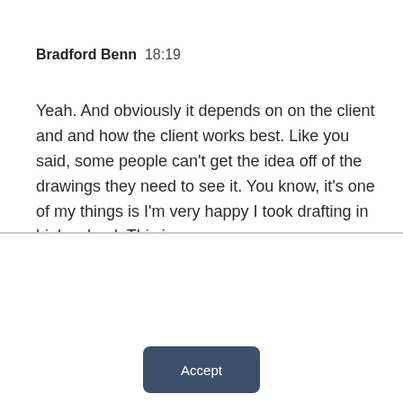Bradford Benn  18:19
Yeah. And obviously it depends on on the client and and how the client works best. Like you said, some people can't get the idea off of the drawings they need to see it. You know, it's one of my things is I'm very happy I took drafting in high school. This is
This website stores cookies on your computer. These cookies are used to collect information about how you interact with our website and allow us to remember you. We use this information in order to improve and customize your browsing experience and for analytics and metrics about our visitors both on this website and other media. To find out more about the cookies we use, see our Privacy Policy.
Accept